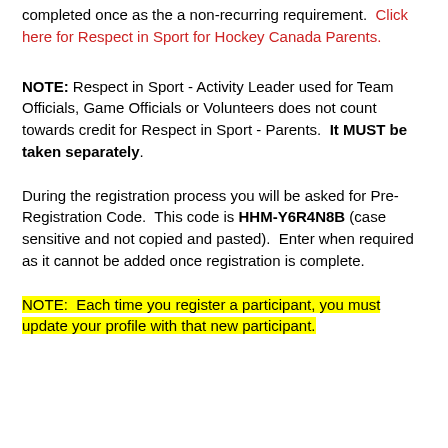completed once as the a non-recurring requirement.  Click here for Respect in Sport for Hockey Canada Parents.
NOTE: Respect in Sport - Activity Leader used for Team Officials, Game Officials or Volunteers does not count towards credit for Respect in Sport - Parents.  It MUST be taken separately.
During the registration process you will be asked for Pre-Registration Code.  This code is HHM-Y6R4N8B (case sensitive and not copied and pasted).  Enter when required as it cannot be added once registration is complete.
NOTE:  Each time you register a participant, you must update your profile with that new participant.